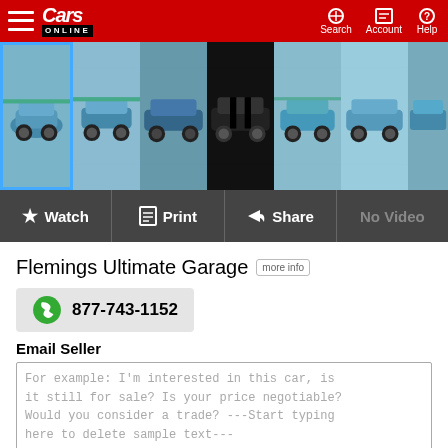Cars Online — Search, Account, Help
[Figure (photo): Photo strip of a classic blue muscle car (Chevelle) showing 7 thumbnail images]
Watch  Print  Share  No Video
Flemings Ultimate Garage  more info
877-743-1152
Email Seller
For example: I'm interested in this car, is it still for sale? Is your price negotiable? Would you consider a trade? ---Start typing here to delete sample text---